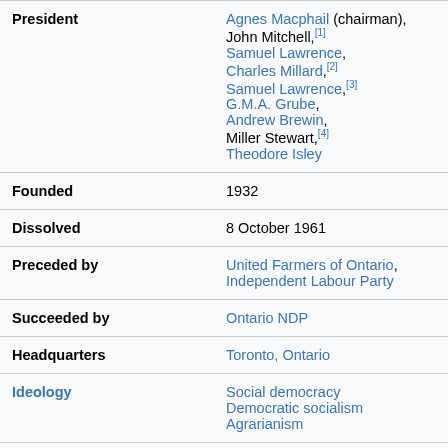| Field | Value |
| --- | --- |
| President | Agnes Macphail (chairman), John Mitchell,[1] Samuel Lawrence, Charles Millard,[2] Samuel Lawrence,[3] G.M.A. Grube, Andrew Brewin, Miller Stewart,[4] Theodore Isley |
| Founded | 1932 |
| Dissolved | 8 October 1961 |
| Preceded by | United Farmers of Ontario, Independent Labour Party |
| Succeeded by | Ontario NDP |
| Headquarters | Toronto, Ontario |
| Ideology | Social democracy Democratic socialism Agrarianism |
| Political position | Left-wing |